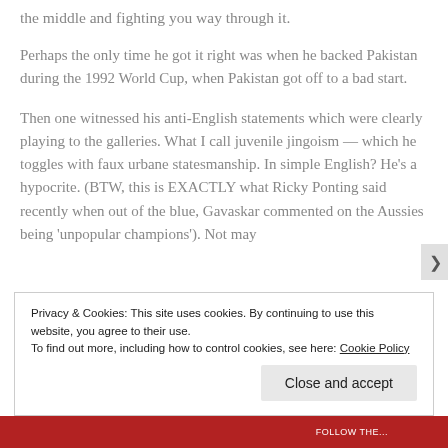the middle and fighting you way through it.
Perhaps the only time he got it right was when he backed Pakistan during the 1992 World Cup, when Pakistan got off to a bad start.
Then one witnessed his anti-English statements which were clearly playing to the galleries. What I call juvenile jingoism — which he toggles with faux urbane statesmanship. In simple English? He's a hypocrite. (BTW, this is EXACTLY what Ricky Ponting said recently when out of the blue, Gavaskar commented on the Aussies being 'unpopular champions'). Not may
Privacy & Cookies: This site uses cookies. By continuing to use this website, you agree to their use.
To find out more, including how to control cookies, see here: Cookie Policy